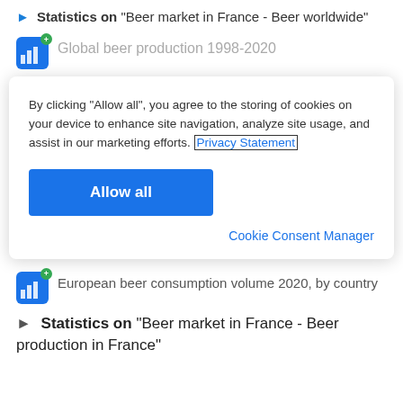Statistics on "Beer market in France - Beer worldwide"
Global beer production 1998-2020
By clicking “Allow all”, you agree to the storing of cookies on your device to enhance site navigation, analyze site usage, and assist in our marketing efforts. Privacy Statement
Allow all
Cookie Consent Manager
European beer consumption volume 2020, by country
Statistics on "Beer market in France - Beer production in France"